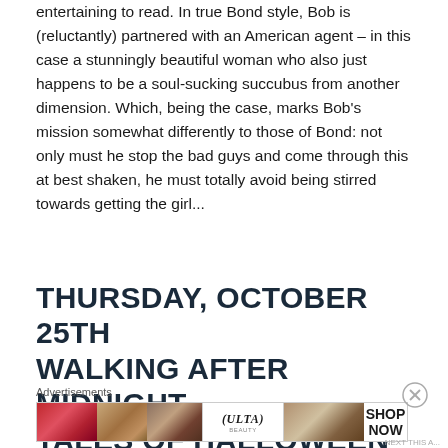entertaining to read. In true Bond style, Bob is (reluctantly) partnered with an American agent – in this case a stunningly beautiful woman who also just happens to be a soul-sucking succubus from another dimension. Which, being the case, marks Bob's mission somewhat differently to those of Bond: not only must he stop the bad guys and come through this at best shaken, he must totally avoid being stirred towards getting the girl...
THURSDAY, OCTOBER 25TH WALKING AFTER MIDNIGHT – TALES OF HALLOWEEN
Advertisements
[Figure (other): Advertisement banner for ULTA beauty featuring close-up images of lips, makeup brush, eye with eyebrow, ULTA logo, eyes with dark makeup, and a SHOP NOW call to action.]
NEXT THIS A...